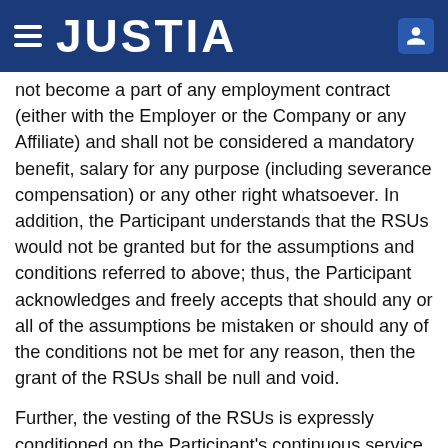JUSTIA
or any right whatsoever. In addition, the Participant understands that the RSUs would not be granted but for the assumptions and conditions referred to above; thus, the Participant acknowledges and freely accepts that should any or all of the assumptions be mistaken or should any of the conditions not be met for any reason, then the grant of the RSUs shall be null and void.
Further, the vesting of the RSUs is expressly conditioned on the Participant's continuous service, such that if the Participant's service or employment terminates for any reason whatsoever, the RSUs will cease to vest immediately effective on the date of termination of the